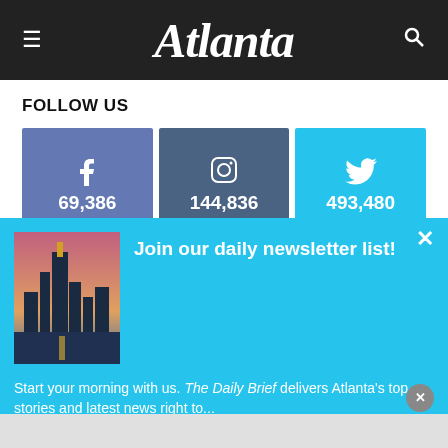Atlanta
FOLLOW US
[Figure (infographic): Three social media follow buttons: Facebook 69,386 | Instagram 144,836 | Twitter 493,480]
[Figure (infographic): Newsletter signup overlay with city skyline image and text: Join our daily newsletter list! Start your morning with us. The Daily Brief delivers Atlanta's top stories and latest news right to...]
Start your morning with us. The Daily Brief delivers Atlanta's...